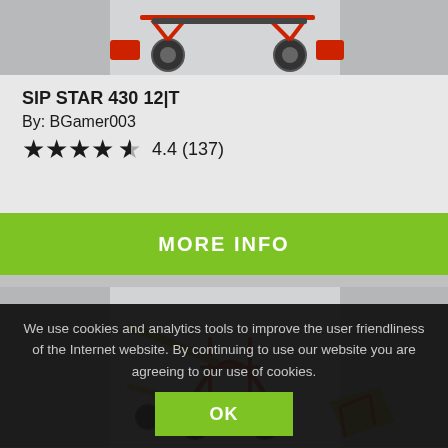[Figure (photo): 3D render of SIP STAR 430 12|T agricultural rake/tedder machine on grey background, showing red frame with wheels]
SIP STAR 430 12|T
By: BGamer003
★★★★½ 4.4 (137)
MORE INFO
[Figure (photo): 3D render of red agricultural rotary hay rake machine with yellow/gold colored tine arms on grey background]
We use cookies and analytics tools to improve the user friendliness of the Internet website. By continuing to use our website you are agreeing to our use of cookies.
OK